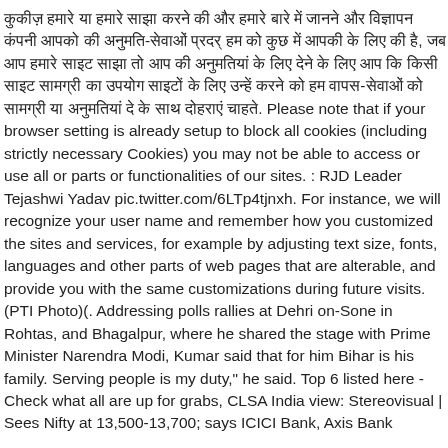कुकीज़ हमारे या हमारे साझा करने की और हमारे बारे में जानने और विज्ञापन कंपनी आपको की अनुमति-सेवाओं प्रदर् हम को कुछ में आपकी के लिए की है, जब आप हमारे साइट साझा तो आप की अनुमतियां के लिए देने के लिए आप कि किसी साइट सामग्री का उपयोग साइटों के लिए उन्हें करने को हम वापस-सेवाओं को सामग्री या अनुमतियां दे के साथ दोहराएं चाहते. Please note that if your browser setting is already setup to block all cookies (including strictly necessary Cookies) you may not be able to access or use all or parts or functionalities of our sites. : RJD Leader Tejashwi Yadav pic.twitter.com/6LTp4tjnxh. For instance, we will recognize your user name and remember how you customized the sites and services, for example by adjusting text size, fonts, languages and other parts of web pages that are alterable, and provide you with the same customizations during future visits. (PTI Photo)(. Addressing polls rallies at Dehri on-Sone in Rohtas, and Bhagalpur, where he shared the stage with Prime Minister Narendra Modi, Kumar said that for him Bihar is his family. Serving people is my duty," he said. Top 6 listed here - Check what all are up for grabs, CLSA India view: Stereovisual | Sees Nifty at 13,500-13,700; says ICICI Bank, Axis Bank